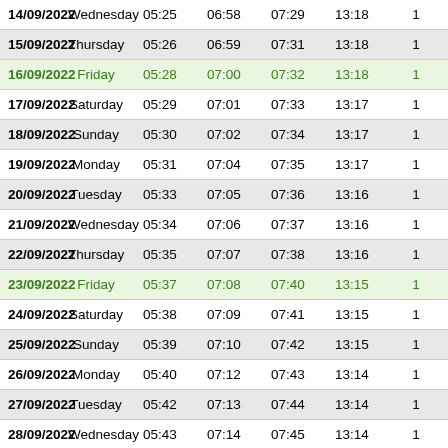| Date | Day | Col3 | Col4 | Col5 | Col6 | Col7 |
| --- | --- | --- | --- | --- | --- | --- |
| 14/09/2022 | Wednesday | 05:25 | 06:58 | 07:29 | 13:18 | 1 |
| 15/09/2022 | Thursday | 05:26 | 06:59 | 07:31 | 13:18 | 1 |
| 16/09/2022 | Friday | 05:28 | 07:00 | 07:32 | 13:18 | 1 |
| 17/09/2022 | Saturday | 05:29 | 07:01 | 07:33 | 13:17 | 1 |
| 18/09/2022 | Sunday | 05:30 | 07:02 | 07:34 | 13:17 | 1 |
| 19/09/2022 | Monday | 05:31 | 07:04 | 07:35 | 13:17 | 1 |
| 20/09/2022 | Tuesday | 05:33 | 07:05 | 07:36 | 13:16 | 1 |
| 21/09/2022 | Wednesday | 05:34 | 07:06 | 07:37 | 13:16 | 1 |
| 22/09/2022 | Thursday | 05:35 | 07:07 | 07:38 | 13:16 | 1 |
| 23/09/2022 | Friday | 05:37 | 07:08 | 07:40 | 13:15 | 1 |
| 24/09/2022 | Saturday | 05:38 | 07:09 | 07:41 | 13:15 | 1 |
| 25/09/2022 | Sunday | 05:39 | 07:10 | 07:42 | 13:15 | 1 |
| 26/09/2022 | Monday | 05:40 | 07:12 | 07:43 | 13:14 | 1 |
| 27/09/2022 | Tuesday | 05:42 | 07:13 | 07:44 | 13:14 | 1 |
| 28/09/2022 | Wednesday | 05:43 | 07:14 | 07:45 | 13:14 | 1 |
| 29/09/2022 | Thursday | 05:44 | 07:15 | 07:47 | 13:13 | 1 |
| October 2022 |  |  |  |  |  |  |
| 30/09/2022 | Friday | 05:45 | 07:16 | 07:48 | 13:13 | 1 |